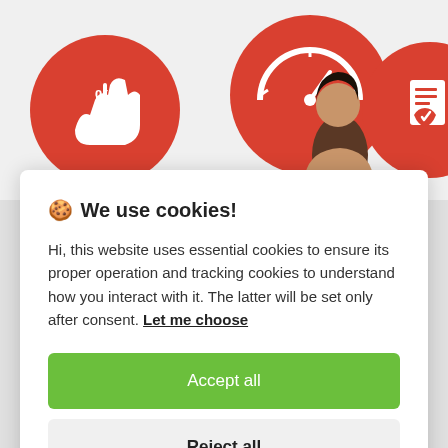[Figure (photo): Background photo showing a woman and red circular icons with white symbols (percentage, speedometer, document) on a light background]
🍪 We use cookies!
Hi, this website uses essential cookies to ensure its proper operation and tracking cookies to understand how you interact with it. The latter will be set only after consent. Let me choose
Accept all
Reject all